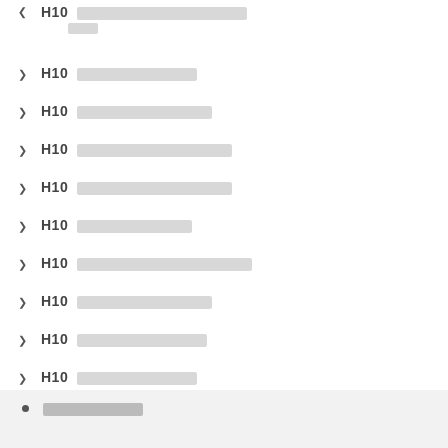H10 [redacted] [redacted line2]
H10 [redacted]
H10 [redacted]
H10 [redacted]
H10 [redacted]
H10 [redacted]
H10 [redacted]
H10 [redacted]
H10 [redacted]
H10 [redacted]
H10 [redacted]